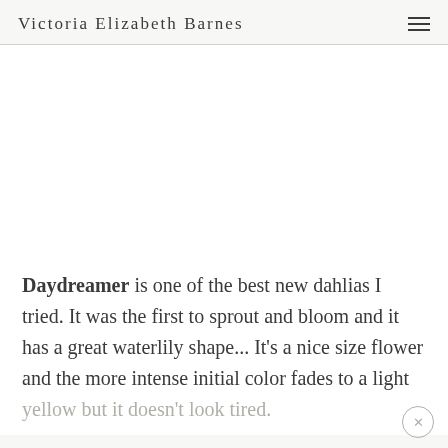Victoria Elizabeth Barnes
Daydreamer is one of the best new dahlias I tried. It was the first to sprout and bloom and it has a great waterlily shape... It's a nice size flower and the more intense initial color fades to a light yellow but it doesn't look tired.